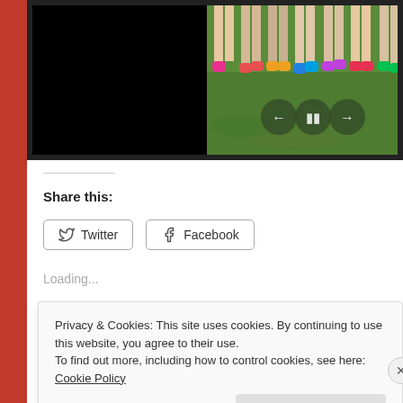[Figure (photo): Website screenshot showing a photo slideshow with children's legs visible on grass and a black panel, with media controls (back, pause, forward) overlaid on the image.]
Share this:
[Figure (screenshot): Twitter and Facebook share buttons]
Loading...
Privacy & Cookies: This site uses cookies. By continuing to use this website, you agree to their use.
To find out more, including how to control cookies, see here: Cookie Policy
Close and accept